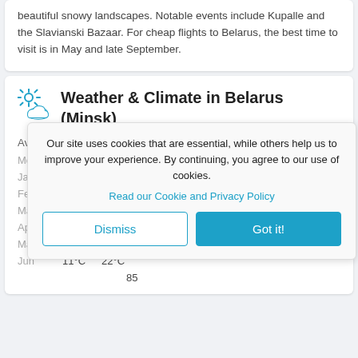beautiful snowy landscapes. Notable events include Kupalle and the Slavianski Bazaar. For cheap flights to Belarus, the best time to visit is in May and late September.
Weather & Climate in Belarus (Minsk)
Average te[mperature...]
| Month |  |  |
| --- | --- | --- |
| Jan |  |  |
| Feb |  |  |
| Mar |  |  |
| Apr |  |  |
| May |  |  |
| Jun | 11°C | 22°C |
|  |  | 85 |
Our site uses cookies that are essential, while others help us to improve your experience. By continuing, you agree to our use of cookies.
Read our Cookie and Privacy Policy